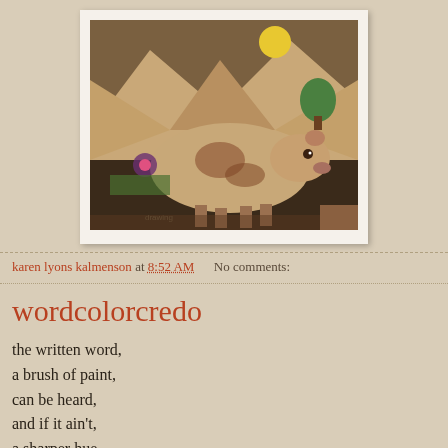[Figure (photo): A child's crayon/colored pencil drawing of a cow or large animal in a landscape, with mountains, a yellow sun, a green tree, and flowers, photographed on white paper.]
karen lyons kalmenson at 8:52 AM    No comments:
wordcolorcredo
the written word,
a brush of paint,
can be heard,
and if it ain't,
a sharper hue,